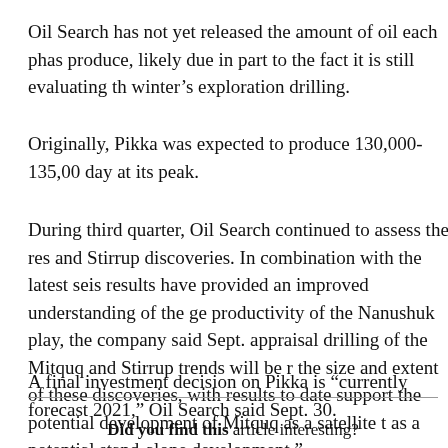Oil Search has not yet released the amount of oil each phase will produce, likely due in part to the fact it is still evaluating the winter’s exploration drilling.
Originally, Pikka was expected to produce 130,000-135,000 barrels a day at its peak.
During third quarter, Oil Search continued to assess the results of the Mitquq and Stirrup discoveries. In combination with the latest seismic data, results have provided an improved understanding of the geology and productivity of the Nanushuk play, the company said Sept. 30. Further appraisal drilling of the Mitquq and Stirrup trends will be needed to assess the size and extent of these discoveries, with results to date sufficient to support the potential development of Mitquq as a satellite to Pikka or as a potential stand-alone development.”
A final investment decision on Pikka is “currently forecast” for 2021,” Oil Search said Sept. 30.
Did you find this article interesting?